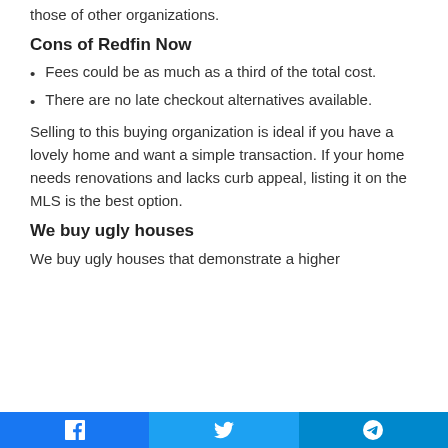those of other organizations.
Cons of Redfin Now
Fees could be as much as a third of the total cost.
There are no late checkout alternatives available.
Selling to this buying organization is ideal if you have a lovely home and want a simple transaction. If your home needs renovations and lacks curb appeal, listing it on the MLS is the best option.
We buy ugly houses
We buy ugly houses that demonstrate a higher